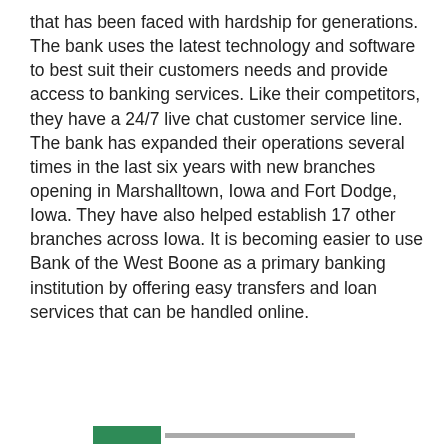that has been faced with hardship for generations. The bank uses the latest technology and software to best suit their customers needs and provide access to banking services. Like their competitors, they have a 24/7 live chat customer service line.
The bank has expanded their operations several times in the last six years with new branches opening in Marshalltown, Iowa and Fort Dodge, Iowa. They have also helped establish 17 other branches across Iowa. It is becoming easier to use Bank of the West Boone as a primary banking institution by offering easy transfers and loan services that can be handled online.